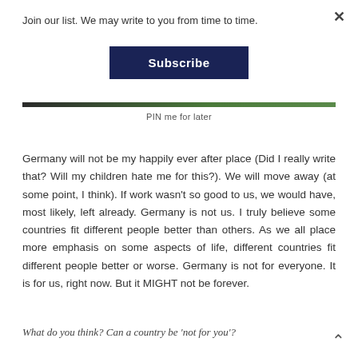Join our list. We may write to you from time to time.
Subscribe
PIN me for later
Germany will not be my happily ever after place (Did I really write that? Will my children hate me for this?). We will move away (at some point, I think). If work wasn't so good to us, we would have, most likely, left already. Germany is not us. I truly believe some countries fit different people better than others. As we all place more emphasis on some aspects of life, different countries fit different people better or worse. Germany is not for everyone. It is for us, right now. But it MIGHT not be forever.
What do you think? Can a country be 'not for you'?